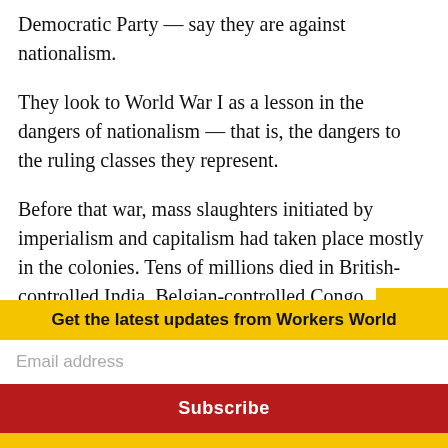Democratic Party — say they are against nationalism.
They look to World War I as a lesson in the dangers of nationalism — that is, the dangers to the ruling classes they represent.
Before that war, mass slaughters initiated by imperialism and capitalism had taken place mostly in the colonies. Tens of millions died in British-controlled India, Belgian-controlled Congo, German-controlled Namibia, Dutch-controlled Indonesia, and in the many
Get the latest updates from Workers World
Email address
Subscribe